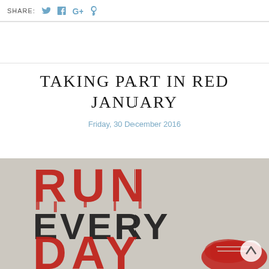SHARE:
TAKING PART IN RED JANUARY
Friday, 30 December 2016
[Figure (photo): Poster with distressed bold text reading 'RUN EVERY DAY' in red and black, with a running shoe visible in the bottom right corner, on a beige/grey background.]